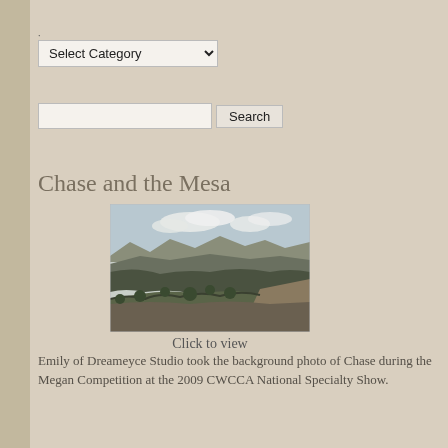.
Select Category
Search
Chase and the Mesa
[Figure (photo): Landscape photo of a mesa with forested canyon and mountains in background under partly cloudy sky. Labeled 'Click to view'.]
Click to view
Emily of Dreameyce Studio took the background photo of Chase during the Megan Competition at the 2009 CWCCA National Specialty Show.